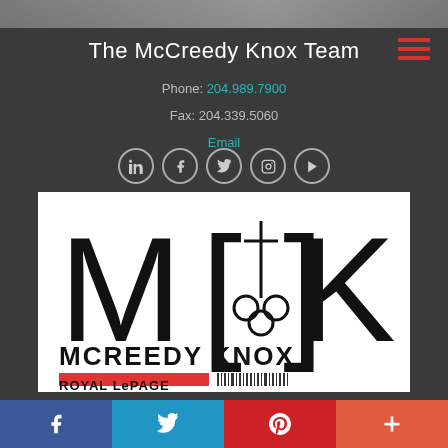[Figure (photo): Top photo strip showing people in an office or professional setting, partially visible]
The McCreedy Knox Team
Phone: 204.989.7900
Fax: 204.339.5060
Email
[Figure (logo): McCreedy Knox Royal LePage logo with stylized M and K letters and a cross/key symbol in the center, with the text MCREEDY KNOX and ROYAL LePAGE below]
[Figure (infographic): Bottom social sharing bar with Facebook, Twitter, Pinterest, and plus/share buttons]